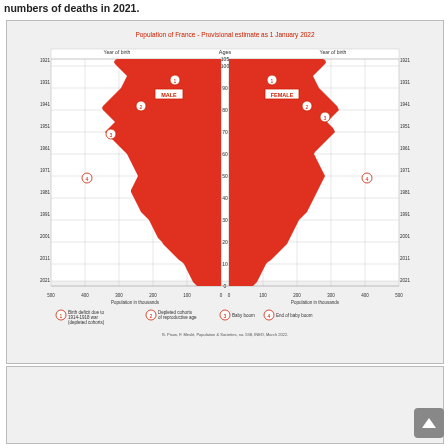numbers of deaths in 2021.
[Figure (other): Population pyramid of France - Provisional estimate as 1 January 2022. Shows male population on left and female on right, with year of birth on y-axis and ages on secondary y-axis. Red filled areas represent population in thousands. Numbered annotations: 1) Birth deficit due to 1914-1918 war (depleted cohorts), 2) Depleted cohorts of reproductive age, 3) Baby boom, 4) End of baby boom. Source: G. Pison, F. Meslé, Population & Societies, no. 598, INED, March 2022.]
G. Pison, F. Meslé, Population & Societies, no. 598, INED, March 2022.